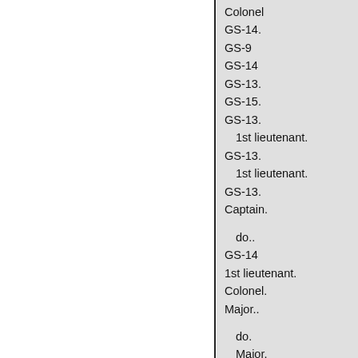Colonel
GS-14.
GS-9
GS-14
GS-13.
GS-15.
GS-13.
1st lieutenant.
GS-13.
1st lieutenant.
GS-13.
Captain.
do..
GS-14
1st lieutenant.
Colonel.
Major..
do.
Major.
GS-15.
GS-14.
GS-14.